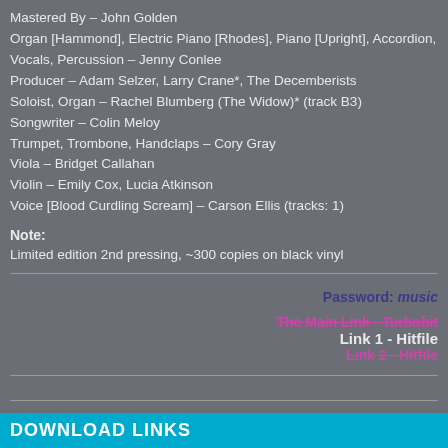Mastered By – John Golden
Organ [Hammond], Electric Piano [Rhodes], Piano [Upright], Accordion,
Vocals, Percussion – Jenny Conlee
Producer – Adam Selzer, Larry Crane*, The Decemberists
Soloist, Organ – Rachel Blumberg (The Widow)* (track B3)
Songwriter – Colin Meloy
Trumpet, Trombone, Handclaps – Cory Gray
Viola – Bridget Callahan
Violin – Emily Cox, Lucia Atkinson
Voice [Blood Curdling Scream] – Carson Ellis (tracks: 1)
Note:
Limited edition 2nd pressing, ~300 copies on black vinyl
Password: music
The Main Link - Turbobit
Link 1 - Hitfile
Link 2 - Hitfile
DOWNLOAD LINKS